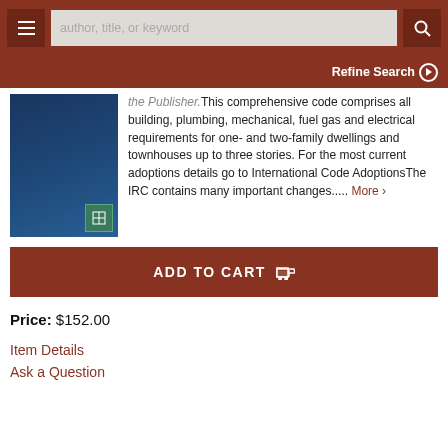author, title, or keyword
Refine Search
[Figure (photo): Book cover with dark blue background and small green logo in bottom right corner]
the Publisher.This comprehensive code comprises all building, plumbing, mechanical, fuel gas and electrical requirements for one- and two-family dwellings and townhouses up to three stories. For the most current adoptions details go to International Code AdoptionsThe IRC contains many important changes..... More >
ADD TO CART
Price: $152.00
Item Details
Ask a Question